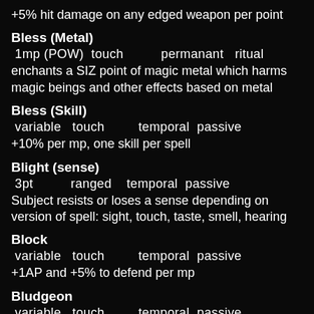+5% hit damage on any edged weapon per point
Bless (Metal)
1mp (POW)  touch          permanant   ritual
enchants a SIZ point of magic metal which harms magic beings and other effects based on metal
Bless (Skill)
variable   touch         temporal  passive
+10% per mp, one skill per spell
Blight (sense)
3pt          ranged    temporal  passive
Subject resists or loses a sense depending on version of spell: sight, touch, taste, smell, hearing
Block
variable   touch         temporal  passive
+1AP and +5% to defend per mp
Bludgeon
variable   touch         temporal  passive